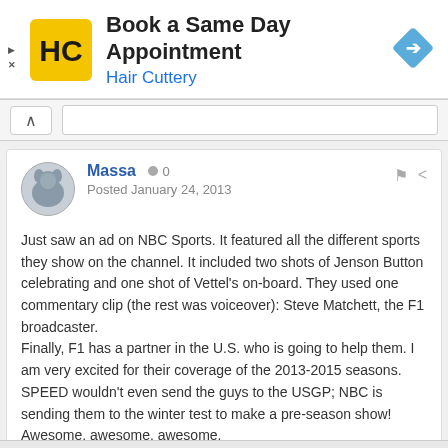[Figure (screenshot): Hair Cuttery advertisement banner with logo, text 'Book a Same Day Appointment / Hair Cuttery', and a blue navigation arrow icon]
[Figure (screenshot): Forum post by user Massa posted January 24, 2013, discussing an NBC Sports ad featuring F1 content]
Just saw an ad on NBC Sports. It featured all the different sports they show on the channel. It included two shots of Jenson Button celebrating and one shot of Vettel's on-board. They used one commentary clip (the rest was voiceover): Steve Matchett, the F1 broadcaster.
Finally, F1 has a partner in the U.S. who is going to help them. I am very excited for their coverage of the 2013-2015 seasons. SPEED wouldn't even send the guys to the USGP; NBC is sending them to the winter test to make a pre-season show! Awesome, awesome, awesome.